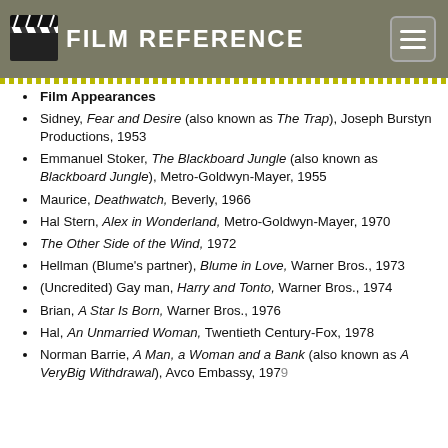FILM REFERENCE
Film Appearances
Sidney, Fear and Desire (also known as The Trap), Joseph Burstyn Productions, 1953
Emmanuel Stoker, The Blackboard Jungle (also known as Blackboard Jungle), Metro-Goldwyn-Mayer, 1955
Maurice, Deathwatch, Beverly, 1966
Hal Stern, Alex in Wonderland, Metro-Goldwyn-Mayer, 1970
The Other Side of the Wind, 1972
Hellman (Blume's partner), Blume in Love, Warner Bros., 1973
(Uncredited) Gay man, Harry and Tonto, Warner Bros., 1974
Brian, A Star Is Born, Warner Bros., 1976
Hal, An Unmarried Woman, Twentieth Century-Fox, 1978
Norman Barrie, A Man, a Woman and a Bank (also known as A VeryBig Withdrawal), Avco Embassy, 1979